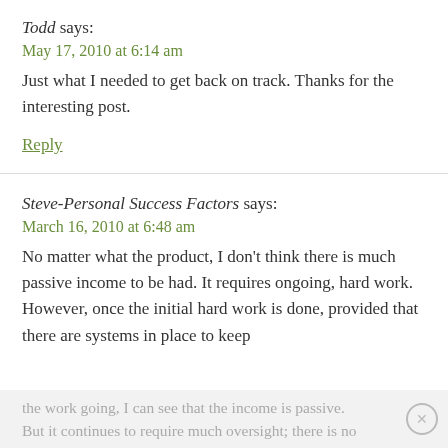Todd says:
May 17, 2010 at 6:14 am
Just what I needed to get back on track. Thanks for the interesting post.
Reply
Steve-Personal Success Factors says:
March 16, 2010 at 6:48 am
No matter what the product, I don't think there is much passive income to be had. It requires ongoing, hard work. However, once the initial hard work is done, provided that there are systems in place to keep the work going, I can see that the income is passive. But it continues to require much oversight; there is no
×